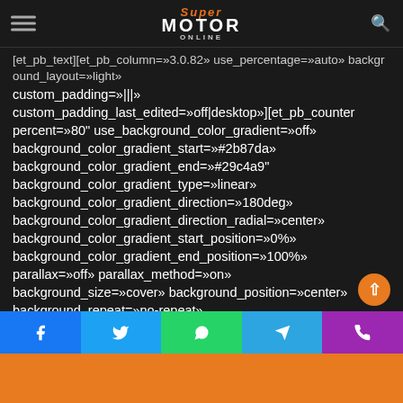SuperMotor Online
[et_pb_text][et_pb_column=»3.0.82» use_percentage=»auto» background_layout=»light» custom_padding=»|||» custom_padding_last_edited=»off|desktop»][et_pb_counter percent=»80" use_background_color_gradient=»off» background_color_gradient_start=»#2b87da» background_color_gradient_end=»#29c4a9" background_color_gradient_type=»linear» background_color_gradient_direction=»180deg» background_color_gradient_direction_radial=»center» background_color_gradient_start_position=»0%» background_color_gradient_end_position=»100%» parallax=»off» parallax_method=»on» background_size=»cover» background_position=»center» background_repeat=»no-repeat»